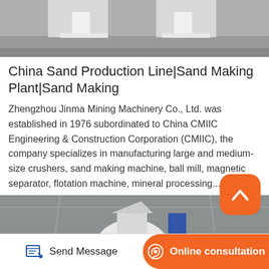[Figure (photo): Top photo showing industrial machinery undercarriage/base on a concrete floor, partially visible at top of page]
China Sand Production Line|Sand Making Plant|Sand Making
Zhengzhou Jinma Mining Machinery Co., Ltd. was established in 1976 subordinated to China CMIIC Engineering &amp; Construction Corporation (CMIIC), the company specializes in manufacturing large and medium-size crushers, sand making machine, ball mill, magnetic separator, flotation machine, mineral processing...
[Figure (photo): Industrial facility interior showing a large white vertical mill or grinding machine with red trim, inside a warehouse with metal roof structure]
[Figure (illustration): Orange rounded square button with white upward chevron arrow icon (scroll to top button)]
Send Message  |  Online consultation